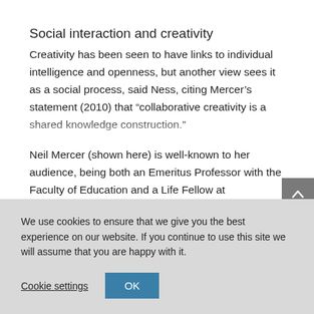Social interaction and creativity
Creativity has been seen to have links to individual intelligence and openness, but another view sees it as a social process, said Ness, citing Mercer’s statement (2010) that “collaborative creativity is a shared knowledge construction.”
Neil Mercer (shown here) is well-known to her audience, being both an Emeritus Professor with the Faculty of Education and a Life Fellow at
We use cookies to ensure that we give you the best experience on our website. If you continue to use this site we will assume that you are happy with it.
Cookie settings   OK